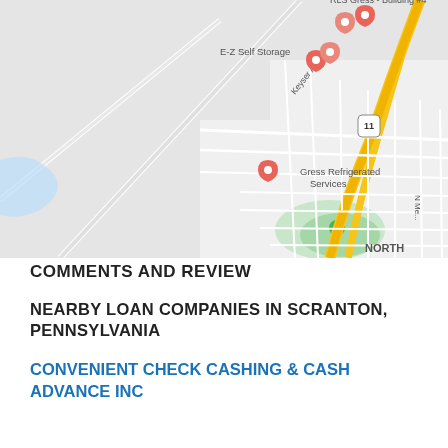[Figure (map): Google Maps view showing area near Scranton, Pennsylvania with location pins for E-Z Self Storage, Gress Refrigerated Services, RLS Gress Building #4, Exxon station, and other nearby businesses. Roads including N Keyser Ave and route 11 are visible. A yellow highway runs through the right side.]
COMMENTS AND REVIEW
NEARBY LOAN COMPANIES IN SCRANTON, PENNSYLVANIA
CONVENIENT CHECK CASHING & CASH ADVANCE INC